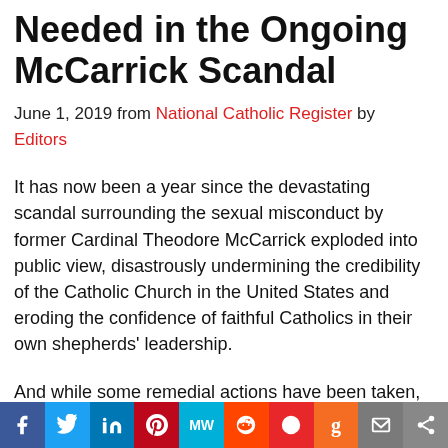Needed in the Ongoing McCarrick Scandal
June 1, 2019 from National Catholic Register by Editors
It has now been a year since the devastating scandal surrounding the sexual misconduct by former Cardinal Theodore McCarrick exploded into public view, disastrously undermining the credibility of the Catholic Church in the United States and eroding the confidence of faithful Catholics in their own shepherds' leadership.
And while some remedial actions have been taken, most notably McCarrick's laicization in February